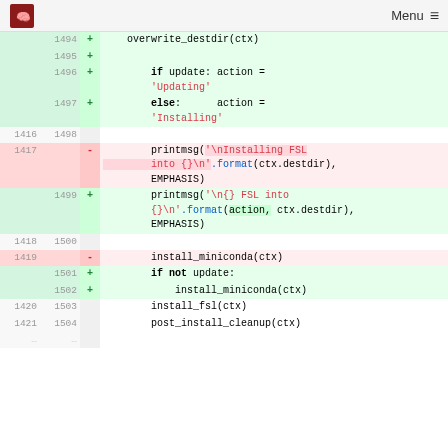Menu
[Figure (screenshot): Code diff showing Python script changes. Lines 1494-1504 shown. Additions (green) and deletions (pink) for FSL installation logic update including action variable for 'Updating'/'Installing' and conditional install_miniconda call.]